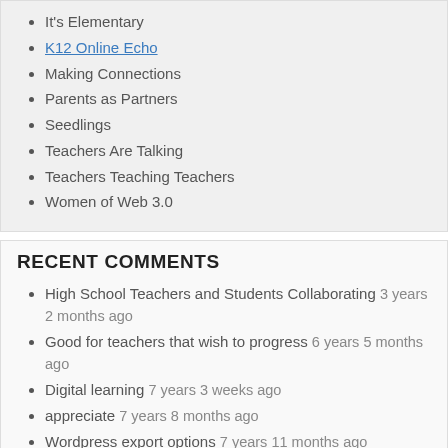It's Elementary
K12 Online Echo
Making Connections
Parents as Partners
Seedlings
Teachers Are Talking
Teachers Teaching Teachers
Women of Web 3.0
RECENT COMMENTS
High School Teachers and Students Collaborating 3 years 2 months ago
Good for teachers that wish to progress 6 years 5 months ago
Digital learning 7 years 3 weeks ago
appreciate 7 years 8 months ago
Wordpress export options 7 years 11 months ago
Getting involved Once Again 7 years 11 months ago
I blogged it here 8 years 3 months ago
archive and mp3 rendition 8 years 4 months ago
Trevor, we somehow never saw 8 years 4 months ago
Jesmion, thank you for the 8 years 4 months ago